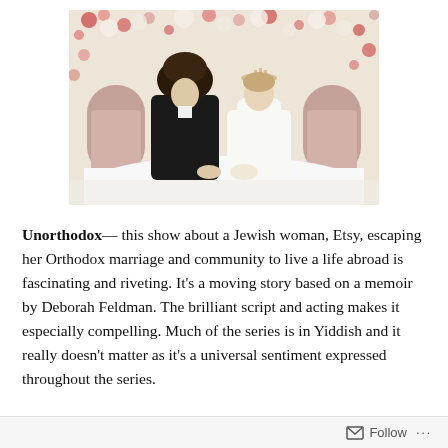[Figure (photo): A wedding photo showing a Jewish Orthodox couple seated at a table covered with a white tablecloth. The groom wears a large black fur hat (shtreimel) and black coat; the bride wears a white high-neck long-sleeve wedding dress with a tiara. Behind them is a lush floral wall of white and red/pink flowers. Pink upholstered chairs are visible on either side.]
Unorthodox— this show about a Jewish woman, Etsy, escaping her Orthodox marriage and community to live a life abroad is fascinating and riveting. It's a moving story based on a memoir by Deborah Feldman. The brilliant script and acting makes it especially compelling. Much of the series is in Yiddish and it really doesn't matter as it's a universal sentiment expressed throughout the series.
Follow ···